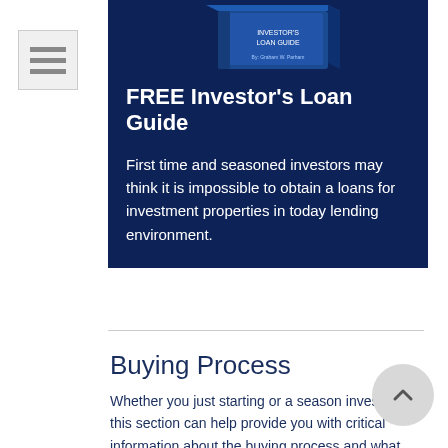[Figure (other): Menu/hamburger icon — three horizontal bars in a light gray square]
[Figure (photo): Book cover image for the Investor's Loan Guide by Graham W. Parham, shown as a 3D blue book]
FREE Investor's Loan Guide
First time and seasoned investors may think it is impossible to obtain a loans for investment properties in today lending environment.
Buying Process
Whether you just starting or a season investor, this section can help provide you with critical information about the buying process and what to expect at